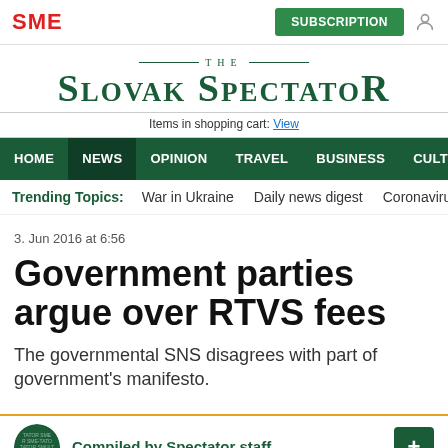SME | SUBSCRIPTION
THE SLOVAK SPECTATOR
Items in shopping cart: View
HOME NEWS OPINION TRAVEL BUSINESS CULTURE MENU
Trending Topics: War in Ukraine  Daily news digest  Coronavirus  For
3. Jun 2016 at 6:56
Government parties argue over RTVS fees
The governmental SNS disagrees with part of government's manifesto.
Compiled by Spectator staff